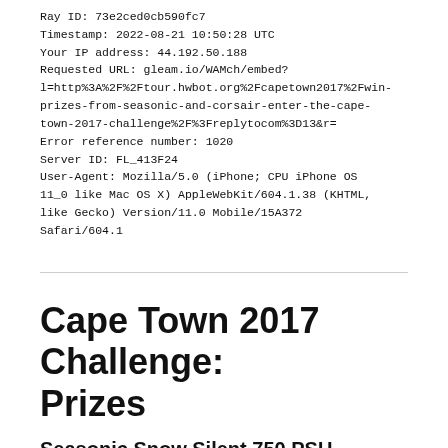Ray ID: 73e2ced0cb590fc7
Timestamp: 2022-08-21 10:50:28 UTC
Your IP address: 44.192.50.188
Requested URL: gleam.io/WAMch/embed?l=http%3A%2F%2Ftour.hwbot.org%2Fcapetown2017%2Fwin-prizes-from-seasonic-and-corsair-enter-the-cape-town-2017-challenge%2F%3Freplytocom%3D13&r=
Error reference number: 1020
Server ID: FL_413F24
User-Agent: Mozilla/5.0 (iPhone; CPU iPhone OS 11_0 like Mac OS X) AppleWebKit/604.1.38 (KHTML, like Gecko) Version/11.0 Mobile/15A372 Safari/604.1
Cape Town 2017 Challenge: Prizes
Seasonic Snow Silent 750 PSU
The latest Seasonic Snow Silent 750 PSU will be used to